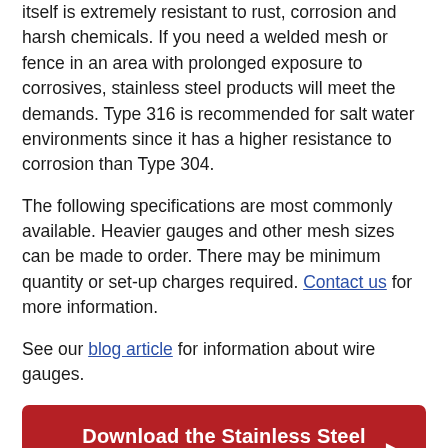itself is extremely resistant to rust, corrosion and harsh chemicals. If you need a welded mesh or fence in an area with prolonged exposure to corrosives, stainless steel products will meet the demands. Type 316 is recommended for salt water environments since it has a higher resistance to corrosion than Type 304.
The following specifications are most commonly available. Heavier gauges and other mesh sizes can be made to order. There may be minimum quantity or set-up charges required. Contact us for more information.
See our blog article for information about wire gauges.
[Figure (other): Red button: Download the Stainless Steel brochure!]
23 gauge - Hardware Cloth
21 gauge - Hardware Cloth
19 gauge - Hardware Cloth
18 gauge
16 gauge